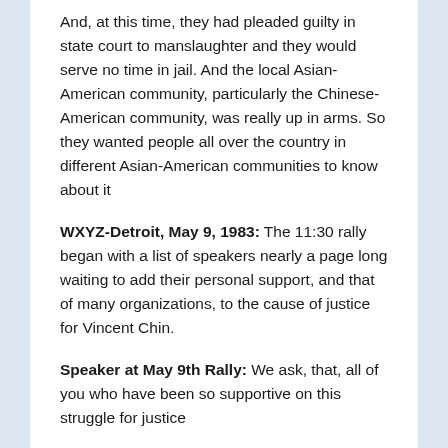And, at this time, they had pleaded guilty in state court to manslaughter and they would serve no time in jail. And the local Asian-American community, particularly the Chinese-American community, was really up in arms. So they wanted people all over the country in different Asian-American communities to know about it
WXYZ-Detroit, May 9, 1983: The 11:30 rally began with a list of speakers nearly a page long waiting to add their personal support, and that of many organizations, to the cause of justice for Vincent Chin.
Speaker at May 9th Rally: We ask, that, all of you who have been so supportive on this struggle for justice